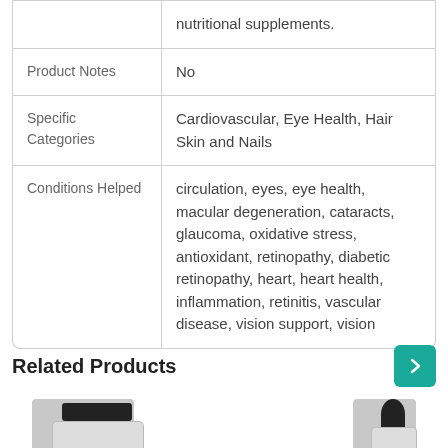|  |  |
| --- | --- |
|  | nutritional supplements. |
| Product Notes | No |
| Specific Categories | Cardiovascular, Eye Health, Hair Skin and Nails |
| Conditions Helped | circulation, eyes, eye health, macular degeneration, cataracts, glaucoma, oxidative stress, antioxidant, retinopathy, diabetic retinopathy, heart, heart health, inflammation, retinitis, vascular disease, vision support, vision |
Related Products
[Figure (photo): Product photo 1 - round container with black lid]
[Figure (photo): Product photo 2 - dropper bottle with black cap]